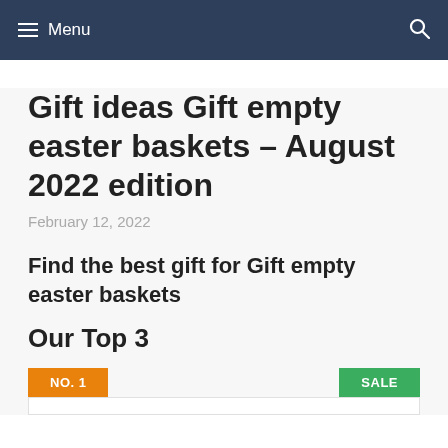Menu
Gift ideas Gift empty easter baskets – August 2022 edition
February 12, 2022
Find the best gift for Gift empty easter baskets
Our Top 3
NO. 1   SALE